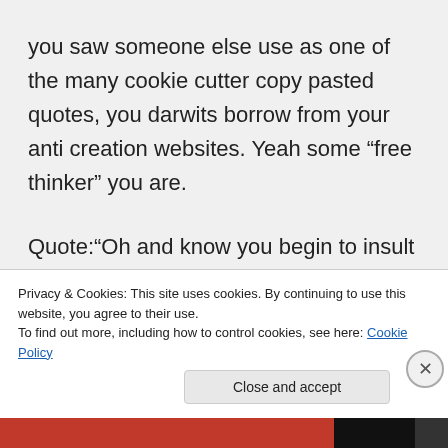you saw someone else use as one of the many cookie cutter copy pasted quotes, you darwits borrow from your anti creation websites. Yeah some “free thinker” you are.
Quote:“Oh and know you begin to insult me, tipically it’s when the other persons lack enough arguments to support their case, ”
That may be YOUR experience with
Privacy & Cookies: This site uses cookies. By continuing to use this website, you agree to their use.
To find out more, including how to control cookies, see here: Cookie Policy